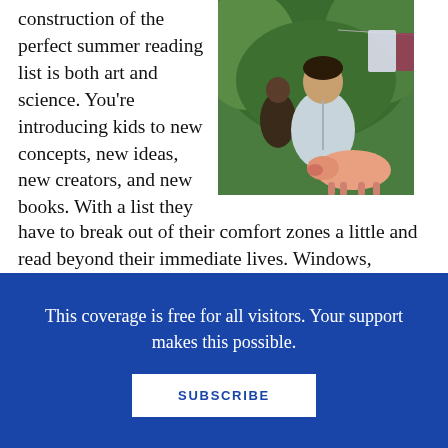construction of the perfect summer reading list is both art and science. You're introducing kids to new concepts, new ideas, new creators, and new books. With a list they have to break out of their comfort zones a little and read beyond their immediate lives. Windows, mirrors, sliding doors, the whole kerschmozzle.
[Figure (illustration): Painting of a young man in a light shirt standing outdoors with a pig and another figure in the background, with laundry hanging on a line]
↓   SCROLL TO KEEP READING THIS POST   ↓
ADVERTISEMENT
This coverage is free for all visitors. Your support makes this possible.
SUBSCRIBE